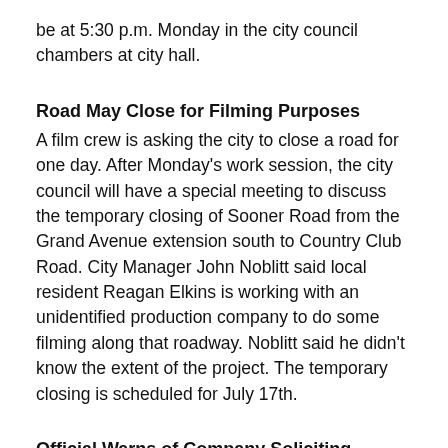be at 5:30 p.m. Monday in the city council chambers at city hall.
Road May Close for Filming Purposes
A film crew is asking the city to close a road for one day. After Monday's work session, the city council will have a special meeting to discuss the temporary closing of Sooner Road from the Grand Avenue extension south to Country Club Road. City Manager John Noblitt said local resident Reagan Elkins is working with an unidentified production company to do some filming along that roadway. Noblitt said he didn't know the extent of the project. The temporary closing is scheduled for July 17th.
Official Warns of Company Soliciting Property Owners
County County officials are on the report to...